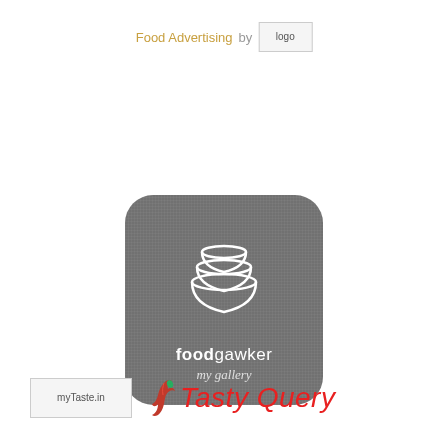[Figure (logo): Food Advertising by logo text with broken image placeholder for logo]
[Figure (logo): Foodgawker badge - dark grey rounded square with stacked bowls icon and text 'foodgawker my gallery']
[Figure (logo): myTaste.in broken image placeholder logo]
[Figure (logo): Tasty Query logo with chili pepper icon and red italic text]